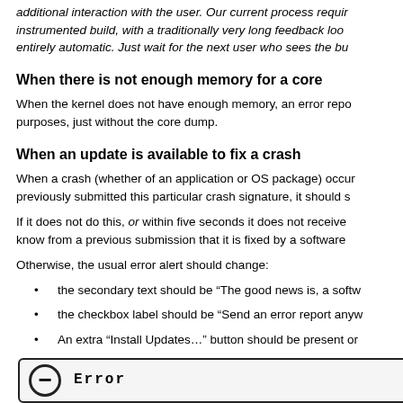additional interaction with the user. Our current process requires an instrumented build, with a traditionally very long feedback loop, entirely automatic. Just wait for the next user who sees the bu...
When there is not enough memory for a core
When the kernel does not have enough memory, an error repo... purposes, just without the core dump.
When an update is available to fix a crash
When a crash (whether of an application or OS package) occurs, and we previously submitted this particular crash signature, it should s...
If it does not do this, or within five seconds it does not receive... know from a previous submission that it is fixed by a software...
Otherwise, the usual error alert should change:
the secondary text should be “The good news is, a softw...
the checkbox label should be “Send an error report anyw...
An extra “Install Updates…” button should be present or...
[Figure (screenshot): Dialog box with an error icon (circle with minus sign) on the left and 'Error' title text in monospace font on the right, showing the bottom portion of an error dialog UI.]